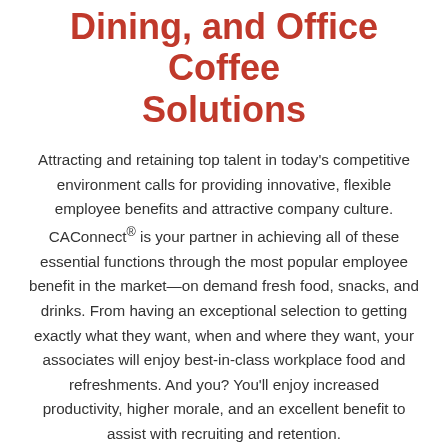Dining, and Office Coffee Solutions
Attracting and retaining top talent in today's competitive environment calls for providing innovative, flexible employee benefits and attractive company culture. CAConnect® is your partner in achieving all of these essential functions through the most popular employee benefit in the market—on demand fresh food, snacks, and drinks. From having an exceptional selection to getting exactly what they want, when and where they want, your associates will enjoy best-in-class workplace food and refreshments. And you? You'll enjoy increased productivity, higher morale, and an excellent benefit to assist with recruiting and retention.